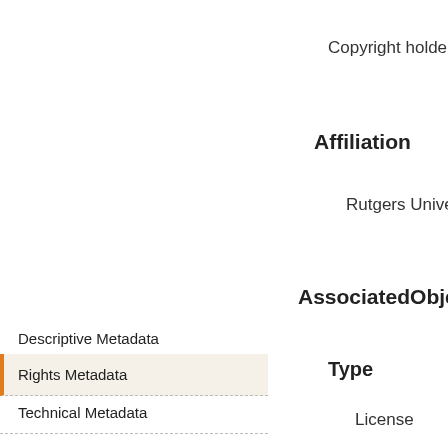Copyright holder
Affiliation
Rutgers University. School
AssociatedObject
Type
License
Name
Author Agreement License
Detail
I hereby grant to the Rutge and distribute my thesis o an electronic format, subje my school. I represent and
Descriptive Metadata
Rights Metadata
Technical Metadata